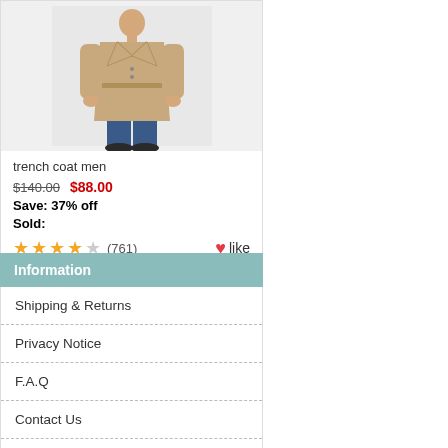[Figure (photo): Man wearing a beige/tan trench coat with blue jeans and black shoes, against a white background]
trench coat men
$140.00  $88.00
Save: 37% off
Sold:
★★★★☆ (761)   ♥like
Information
Shipping & Returns
Privacy Notice
F.A.Q
Contact Us
Site Map
Gift Certificate FAQ
Discount Coupons